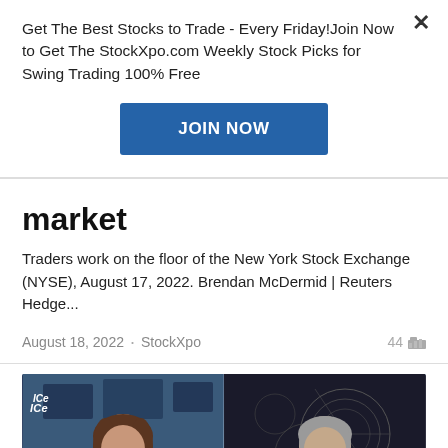Get The Best Stocks to Trade - Every Friday!Join Now to Get The StockXpo.com Weekly Stock Picks for Swing Trading 100% Free
[Figure (other): JOIN NOW button - blue rectangle call-to-action button]
market
Traders work on the floor of the New York Stock Exchange (NYSE), August 17, 2022. Brendan McDermid | Reuters Hedge...
August 18, 2022 · StockXpo  44
[Figure (photo): Split screen video or image showing two people: a woman on the left in a trading floor setting with ICe branding visible, and an older man on the right in front of a dark background with circular diagrams]